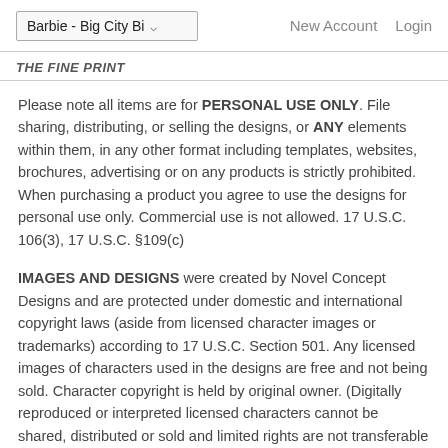Barbie - Big City Bi▾   New Account   Login
THE FINE PRINT
Please note all items are for PERSONAL USE ONLY. File sharing, distributing, or selling the designs, or ANY elements within them, in any other format including templates, websites, brochures, advertising or on any products is strictly prohibited. When purchasing a product you agree to use the designs for personal use only. Commercial use is not allowed. 17 U.S.C. 106(3), 17 U.S.C. §109(c)
IMAGES AND DESIGNS were created by Novel Concept Designs and are protected under domestic and international copyright laws (aside from licensed character images or trademarks) according to 17 U.S.C. Section 501. Any licensed images of characters used in the designs are free and not being sold. Character copyright is held by original owner. (Digitally reproduced or interpreted licensed characters cannot be shared, distributed or sold and limited rights are not transferable to